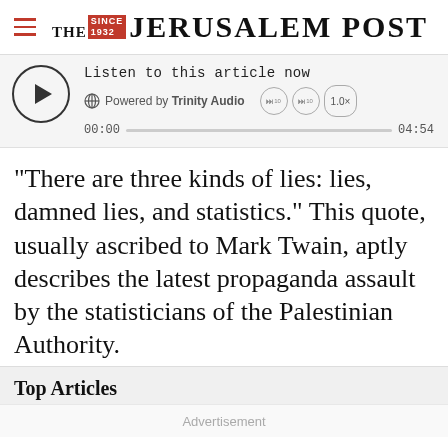THE JERUSALEM POST
[Figure (other): Audio player widget: play button, 'Listen to this article now', Powered by Trinity Audio, time 00:00 / 04:54, progress bar, skip buttons, 1.0x speed]
“There are three kinds of lies: lies, damned lies, and statistics.” This quote, usually ascribed to Mark Twain, aptly describes the latest propaganda assault by the statisticians of the Palestinian Authority.
Top Articles
Advertisement